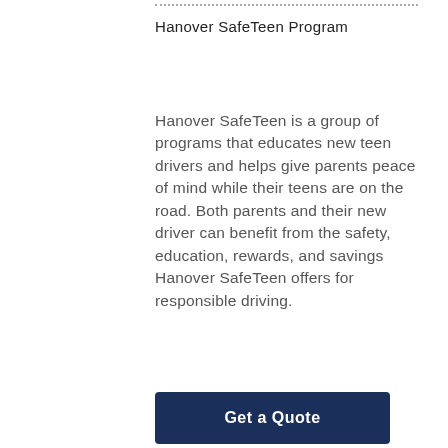Hanover SafeTeen Program
Hanover SafeTeen is a group of programs that educates new teen drivers and helps give parents peace of mind while their teens are on the road. Both parents and their new driver can benefit from the safety, education, rewards, and savings Hanover SafeTeen offers for responsible driving.
Get a Quote